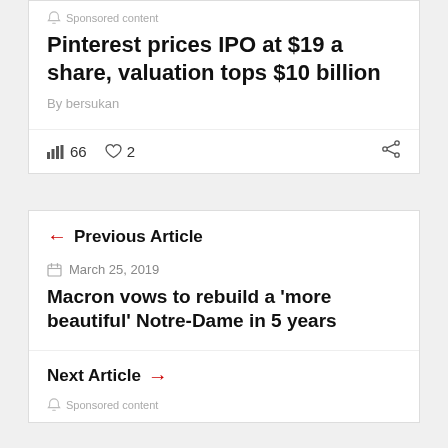Sponsored content
Pinterest prices IPO at $19 a share, valuation tops $10 billion
By bersukan
66  2
← Previous Article
March 25, 2019
Macron vows to rebuild a 'more beautiful' Notre-Dame in 5 years
Next Article →
Sponsored content